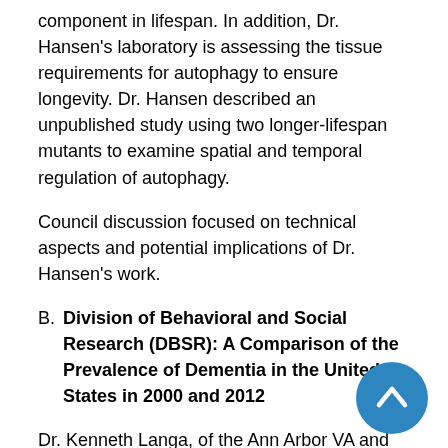component in lifespan. In addition, Dr. Hansen's laboratory is assessing the tissue requirements for autophagy to ensure longevity. Dr. Hansen described an unpublished study using two longer-lifespan mutants to examine spatial and temporal regulation of autophagy.
Council discussion focused on technical aspects and potential implications of Dr. Hansen's work.
B. Division of Behavioral and Social Research (DBSR): A Comparison of the Prevalence of Dementia in the United States in 2000 and 2012
Dr. Kenneth Langa, of the Ann Arbor VA and the University of Michigan, discussed work, recently published in JAMA Internal Medicine, that has used data from the Health and Retirement Study (HRS) to